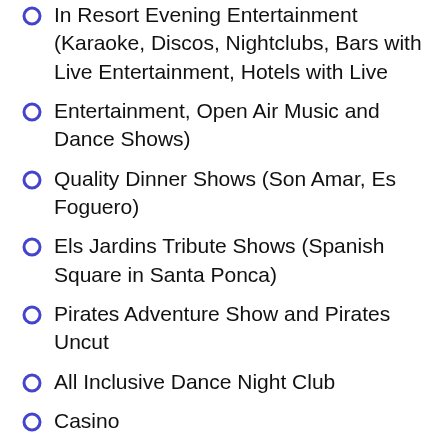In Resort Evening Entertainment (Karaoke, Discos, Nightclubs, Bars with Live Entertainment, Hotels with Live
Entertainment, Open Air Music and Dance Shows)
Quality Dinner Shows (Son Amar, Es Foguero)
Els Jardins Tribute Shows (Spanish Square in Santa Ponca)
Pirates Adventure Show and Pirates Uncut
All Inclusive Dance Night Club
Casino
Fiestas (at different times of the year in many areas)
Fun Parks for Children